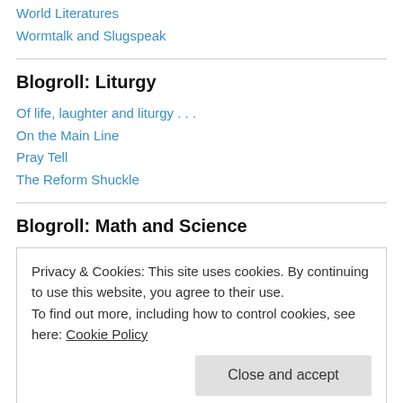World Literatures
Wormtalk and Slugspeak
Blogroll: Liturgy
Of life, laughter and liturgy . . .
On the Main Line
Pray Tell
The Reform Shuckle
Blogroll: Math and Science
Privacy & Cookies: This site uses cookies. By continuing to use this website, you agree to their use.
To find out more, including how to control cookies, see here: Cookie Policy
Close and accept